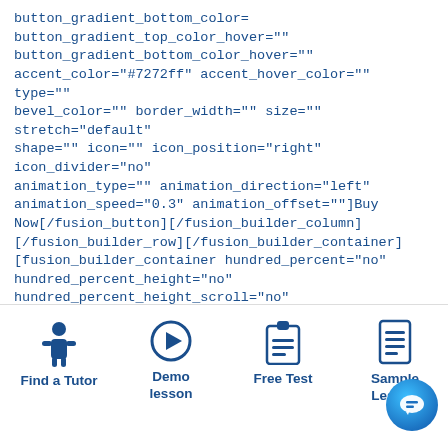button_gradient_bottom_color=
button_gradient_top_color_hover=""
button_gradient_bottom_color_hover=""
accent_color="#7272ff" accent_hover_color="" type=""
bevel_color="" border_width="" size="" stretch="default"
shape="" icon="" icon_position="right" icon_divider="no"
animation_type="" animation_direction="left"
animation_speed="0.3" animation_offset=""]Buy Now[/fusion_button][/fusion_builder_column]
[/fusion_builder_row][/fusion_builder_container]
[fusion_builder_container hundred_percent="no"
hundred_percent_height="no"
hundred_percent_height_scroll="no"
hundred_percent_height_center_content="yes"
equal_height_columns="no" menu_anchor=""
hide_on_mobile="small-visibility,medium-visibility,large-
[Figure (infographic): Footer navigation bar with four icons and labels: Find a Tutor (person icon), Demo lesson (play button icon), Free Test (clipboard icon), Sample Lesson (document icon), plus a chat button circle on the right.]